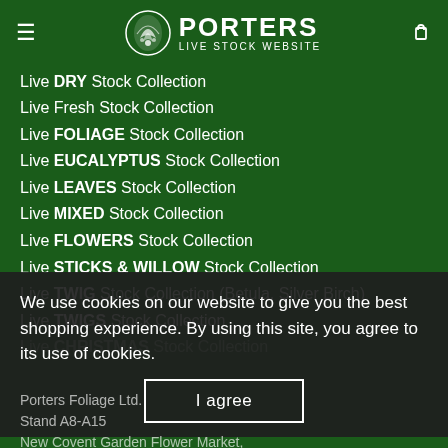PORTERS LIVE STOCK WEBSITE
Live DRY Stock Collection
Live Fresh Stock Collection
Live FOLIAGE Stock Collection
Live EUCALYPTUS Stock Collection
Live LEAVES Stock Collection
Live MIXED Stock Collection
Live FLOWERS Stock Collection
Live STICKS & WILLOW Stock Collection
Live TWIG Stock Collection (Betula, Silver Birch)
Live TWIGS Stock Collection
Live CHRISTMAS Stock Collection
We use cookies on our website to give you the best shopping experience. By using this site, you agree to its use of cookies.
Porters Foliage Ltd.
Stand A8-A15
New Covent Garden Flower Market,